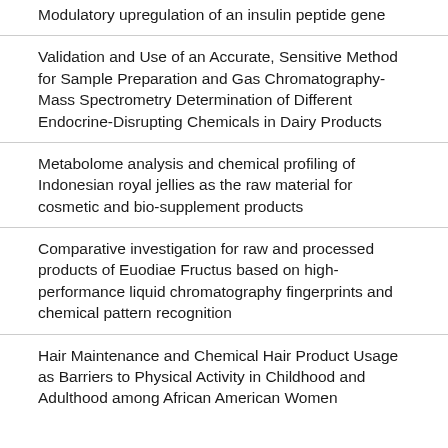Modulatory upregulation of an insulin peptide gene
Validation and Use of an Accurate, Sensitive Method for Sample Preparation and Gas Chromatography-Mass Spectrometry Determination of Different Endocrine-Disrupting Chemicals in Dairy Products
Metabolome analysis and chemical profiling of Indonesian royal jellies as the raw material for cosmetic and bio-supplement products
Comparative investigation for raw and processed products of Euodiae Fructus based on high-performance liquid chromatography fingerprints and chemical pattern recognition
Hair Maintenance and Chemical Hair Product Usage as Barriers to Physical Activity in Childhood and Adulthood among African American Women